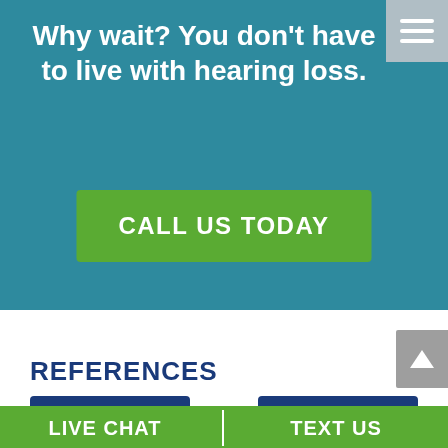Why wait? You don't have to live with hearing loss.
CALL US TODAY
REFERENCES
LIVE CHAT
TEXT US